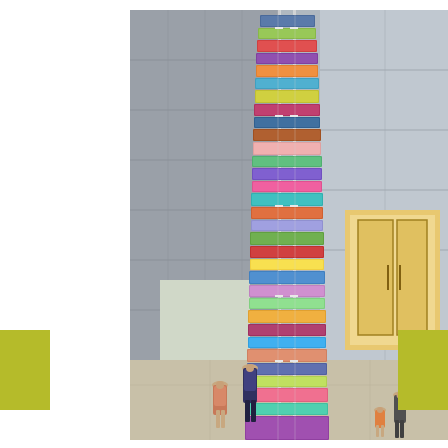[Figure (photo): Interior atrium of a building with a tall vertical installation of colorful folded garments/textiles stacked and suspended from ceiling to floor. Several people stand at the base looking up at the towering column of clothing. The space has concrete/stone walls, a doorway on the left, and an illuminated entrance with glass doors on the right.]